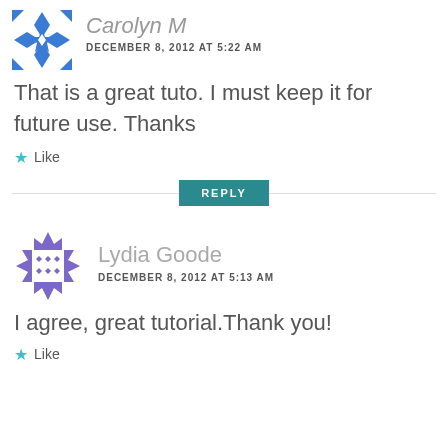[Figure (illustration): Blue geometric/quilt pattern avatar icon (partially visible at top)]
Carolyn M
DECEMBER 8, 2012 AT 5:22 AM
That is a great tuto. I must keep it for future use. Thanks
★ Like
REPLY
[Figure (illustration): Purple snowflake/ornament pattern avatar icon for Lydia Goode]
Lydia Goode
DECEMBER 8, 2012 AT 5:13 AM
I agree, great tutorial.Thank you!
★ Like